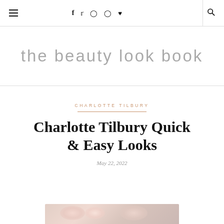≡  f  t  ◻  ◻  ♥  🔍
the beauty look book
CHARLOTTE TILBURY
Charlotte Tilbury Quick & Easy Looks
May 22, 2022
[Figure (photo): Partial view of a floral/beauty image at the bottom of the page]